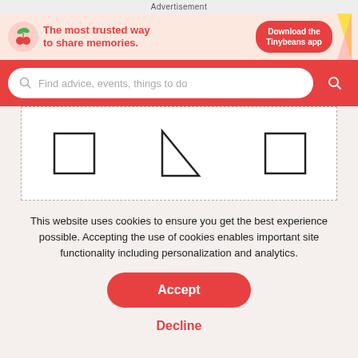Advertisement
[Figure (illustration): Tinybeans app advertisement banner with plant/cherry icon, text 'The most trusted way to share memories.' and a 'Download the Tinybeans app' button]
[Figure (screenshot): Search bar with placeholder text 'Find advice, events, things to do' on a red background with a red search button]
[Figure (illustration): Three geometric shapes: a square outline, a right triangle outline, and a square outline, inside a dashed border box]
This website uses cookies to ensure you get the best experience possible. Accepting the use of cookies enables important site functionality including personalization and analytics.
Accept
Decline